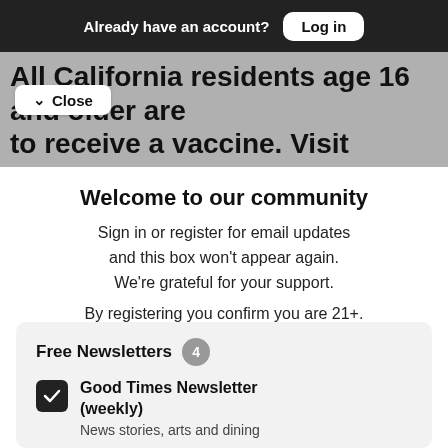Already have an account? Log in
All California residents age 16 and older are to receive a vaccine. Visit
Close
Welcome to our community
Sign in or register for email updates and this box won't appear again. We're grateful for your support.
By registering you confirm you are 21+.
Free Newsletters 4
Good Times Newsletter (weekly)
News stories, arts and dining